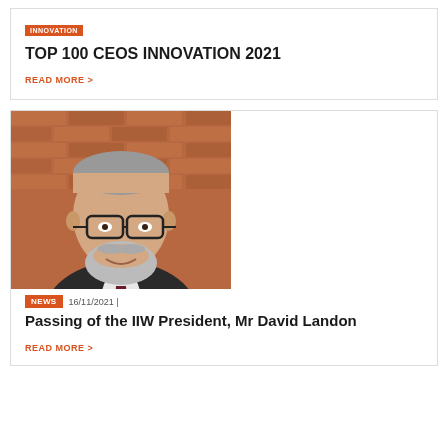TOP 100 CEOS INNOVATION 2021
READ MORE >
[Figure (photo): Portrait photo of an older man with grey hair and beard, wearing glasses, a dark suit jacket, white shirt and striped tie, smiling in front of a brick wall background]
NEWS  16/11/2021 |
Passing of the IIW President, Mr David Landon
READ MORE >